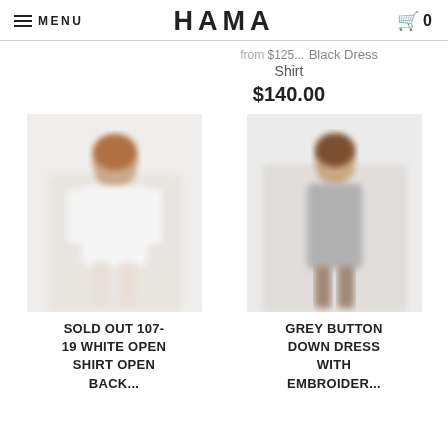MENU | HAMA | 0
from $125... Black Dress
Shirt
$140.00
[Figure (photo): Woman wearing a white open shirt, blurred fashion product photo]
SOLD OUT 107-19 WHITE OPEN SHIRT OPEN BACK...
[Figure (photo): Woman wearing a grey button down dress, blurred fashion product photo]
GREY BUTTON DOWN DRESS WITH...